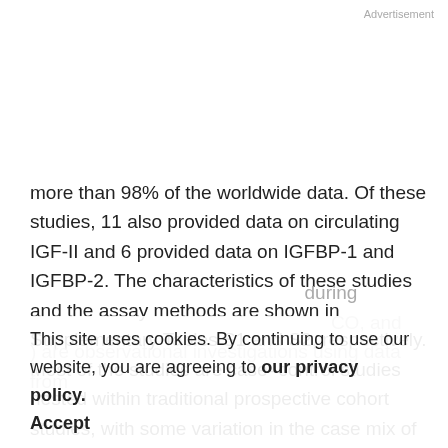Advertisement
more than 98% of the worldwide data. Of these studies, 11 also provided data on circulating IGF-II and 6 provided data on IGFBP-1 and IGFBP-2. The characteristics of these studies and the assay methods are shown in Supplementary Tables S1 and S2, respectively. Most of the studies are case–control studies nested within traditional prospective cohort studies, with some variation in the case mix of these studies according to the
This site uses cookies. By continuing to use our website, you are agreeing to our privacy policy. Accept
during CO, and ) are observational investigations using data from